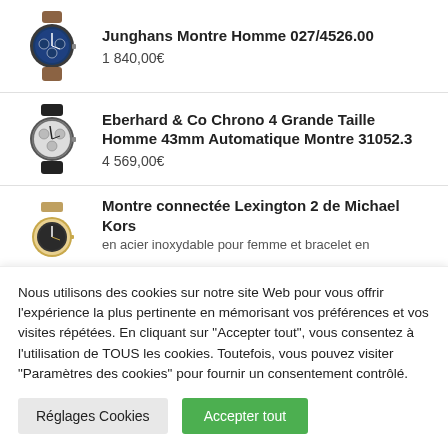[Figure (photo): Watch product image - Junghans Montre Homme blue dial with brown leather strap]
Junghans Montre Homme 027/4526.00
1 840,00€
[Figure (photo): Watch product image - Eberhard & Co Chrono 4 Grande Taille with black strap]
Eberhard & Co Chrono 4 Grande Taille Homme 43mm Automatique Montre 31052.3
4 569,00€
[Figure (photo): Watch product image - Montre connectée Lexington 2 Michael Kors]
Montre connectée Lexington 2 de Michael Kors en acier inoxydable pour femme et bracelet en
Nous utilisons des cookies sur notre site Web pour vous offrir l'expérience la plus pertinente en mémorisant vos préférences et vos visites répétées. En cliquant sur "Accepter tout", vous consentez à l'utilisation de TOUS les cookies. Toutefois, vous pouvez visiter "Paramètres des cookies" pour fournir un consentement contrôlé.
Réglages Cookies
Accepter tout